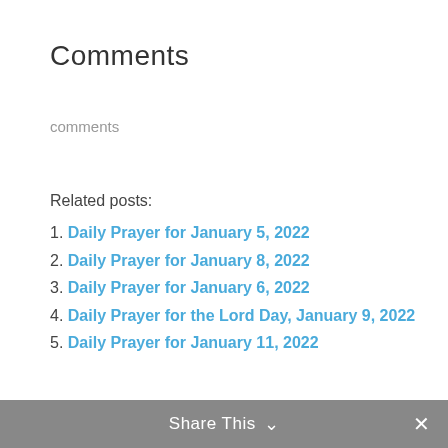Comments
comments
Related posts:
1. Daily Prayer for January 5, 2022
2. Daily Prayer for January 8, 2022
3. Daily Prayer for January 6, 2022
4. Daily Prayer for the Lord Day, January 9, 2022
5. Daily Prayer for January 11, 2022
Share This ∨  ✕